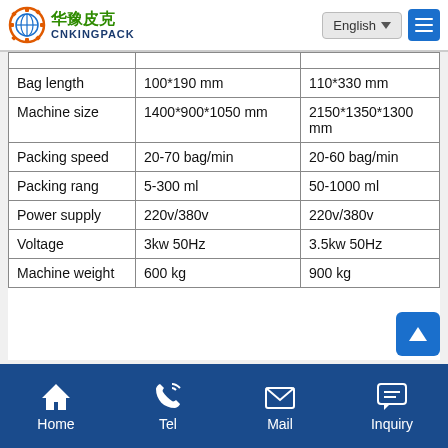CNKINGPACK 华豫皮克 — English
|  | Col 1 | Col 2 |
| --- | --- | --- |
| Bag length | 100*190 mm | 110*330 mm |
| Machine size | 1400*900*1050 mm | 2150*1350*1300 mm |
| Packing speed | 20-70 bag/min | 20-60 bag/min |
| Packing rang | 5-300 ml | 50-1000 ml |
| Power supply | 220v/380v | 220v/380v |
| Voltage | 3kw 50Hz | 3.5kw 50Hz |
| Machine weight | 600 kg | 900 kg |
Home | Tel | Mail | Inquiry